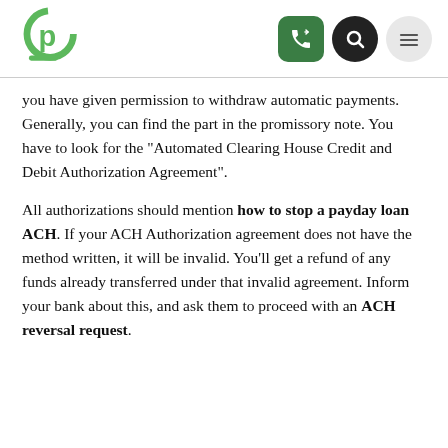[Figure (logo): Green circular logo with letter P inside, resembling a podcast/loan brand mark]
you have given permission to withdraw automatic payments. Generally, you can find the part in the promissory note. You have to look for the “Automated Clearing House Credit and Debit Authorization Agreement”.
All authorizations should mention how to stop a payday loan ACH. If your ACH Authorization agreement does not have the method written, it will be invalid. You’ll get a refund of any funds already transferred under that invalid agreement. Inform your bank about this, and ask them to proceed with an ACH reversal request.